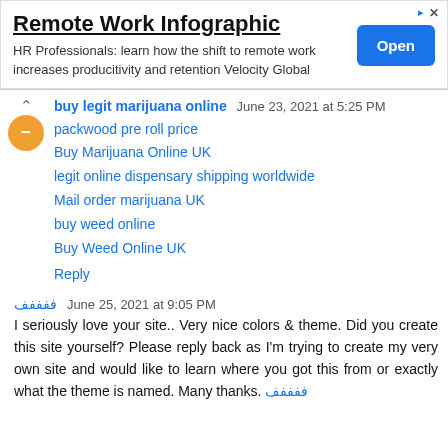[Figure (screenshot): Advertisement banner for 'Remote Work Infographic' with an Open button]
buy legit marijuana online  June 23, 2021 at 5:25 PM
packwood pre roll price
Buy Marijuana Online UK
legit online dispensary shipping worldwide
Mail order marijuana UK
buy weed online
Buy Weed Online UK
Reply
ففففف  June 25, 2021 at 9:05 PM
I seriously love your site.. Very nice colors & theme. Did you create this site yourself? Please reply back as I'm trying to create my very own site and would like to learn where you got this from or exactly what the theme is named. Many thanks. ففففف